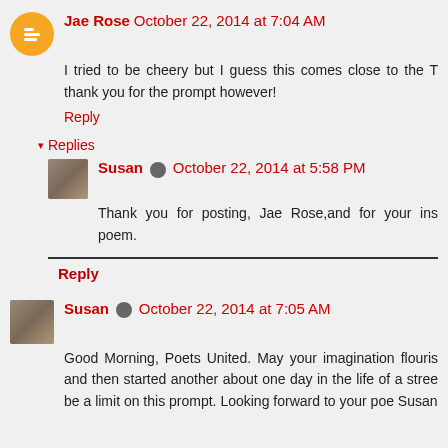Jae Rose October 22, 2014 at 7:04 AM
I tried to be cheery but I guess this comes close to the T thank you for the prompt however!
Reply
▾ Replies
Susan October 22, 2014 at 5:58 PM
Thank you for posting, Jae Rose,and for your ins poem.
Reply
Susan October 22, 2014 at 7:05 AM
Good Morning, Poets United. May your imagination flourishing and then started another about one day in the life of a stree be a limit on this prompt. Looking forward to your poe Susan